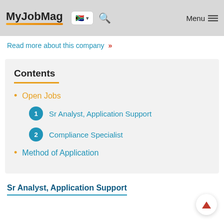MyJobMag | Menu
Read more about this company »
Contents
Open Jobs
1 Sr Analyst, Application Support
2 Compliance Specialist
Method of Application
Sr Analyst, Application Support